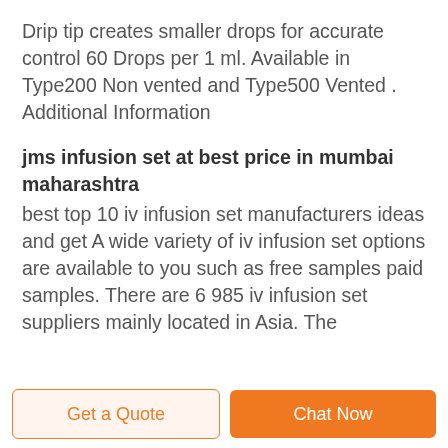Drip tip creates smaller drops for accurate control 60 Drops per 1 ml. Available in Type200 Non vented and Type500 Vented . Additional Information
jms infusion set at best price in mumbai maharashtra
best top 10 iv infusion set manufacturers ideas and get A wide variety of iv infusion set options are available to you such as free samples paid samples. There are 6 985 iv infusion set suppliers mainly located in Asia. The
Get a Quote | Chat Now